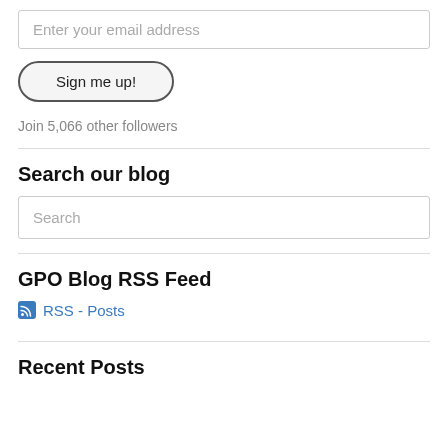Enter your email address
Sign me up!
Join 5,066 other followers
Search our blog
Search
GPO Blog RSS Feed
RSS - Posts
Recent Posts